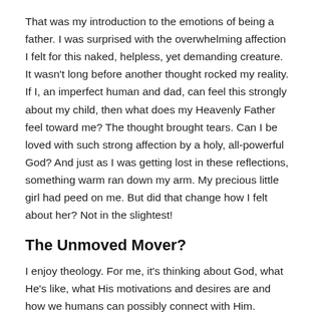That was my introduction to the emotions of being a father. I was surprised with the overwhelming affection I felt for this naked, helpless, yet demanding creature. It wasn't long before another thought rocked my reality. If I, an imperfect human and dad, can feel this strongly about my child, then what does my Heavenly Father feel toward me? The thought brought tears. Can I be loved with such strong affection by a holy, all-powerful God? And just as I was getting lost in these reflections, something warm ran down my arm. My precious little girl had peed on me. But did that change how I felt about her? Not in the slightest!
The Unmoved Mover?
I enjoy theology. For me, it's thinking about God, what He's like, what His motivations and desires are and how we humans can possibly connect with Him. Unfortunately, some theological thoughts can lead away from a relational, i...